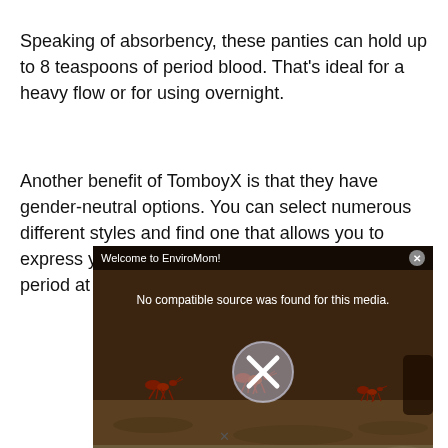Speaking of absorbency, these panties can hold up to 8 teaspoons of period blood. That's ideal for a heavy flow or for using overnight.
Another benefit of TomboyX is that they have gender-neutral options. You can select numerous different styles and find one that allows you to express yourself and stay comfortable on your period at the same time!
[Figure (screenshot): A video player overlay labeled 'Welcome to EnviroMom!' showing 'No compatible source was found for this media.' with a large X/close button icon, over a dark scene with ant-like figures.]